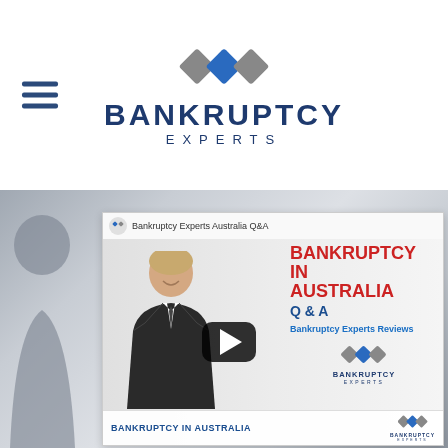[Figure (logo): Bankruptcy Experts logo with diamond/square icon in grey and blue, hamburger menu icon on left, text BANKRUPTCY in large dark blue letters, EXPERTS in smaller spaced letters below]
[Figure (screenshot): YouTube video thumbnail for Bankruptcy Experts Australia Q&A video about Bankruptcy in Australia. Shows a man in a suit on the left, play button in center, text overlay on right reading BANKRUPTCY IN AUSTRALIA Q & A in red and blue, Bankruptcy Experts Reviews in blue. Bottom bar shows BANKRUPTCY IN AUSTRALIA text and Bankruptcy Experts logo.]